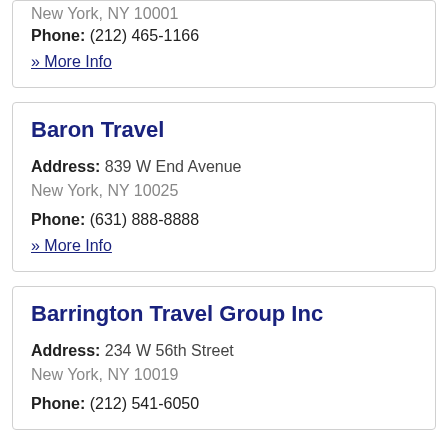New York, NY 10001
Phone: (212) 465-1166
» More Info
Baron Travel
Address: 839 W End Avenue New York, NY 10025
Phone: (631) 888-8888
» More Info
Barrington Travel Group Inc
Address: 234 W 56th Street New York, NY 10019
Phone: (212) 541-6050